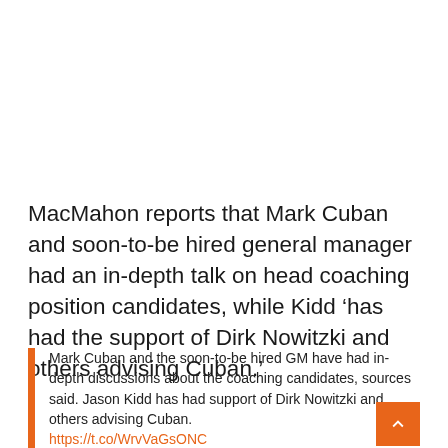MacMahon reports that Mark Cuban and soon-to-be hired general manager had an in-depth talk on head coaching position candidates, while Kidd ‘has had the support of Dirk Nowitzki and others advising Cuban.’
Mark Cuban and the soon-to-be hired GM have had in-depth discussions about the coaching candidates, sources said. Jason Kidd has had support of Dirk Nowitzki and others advising Cuban. https://t.co/WrvVaGsONC